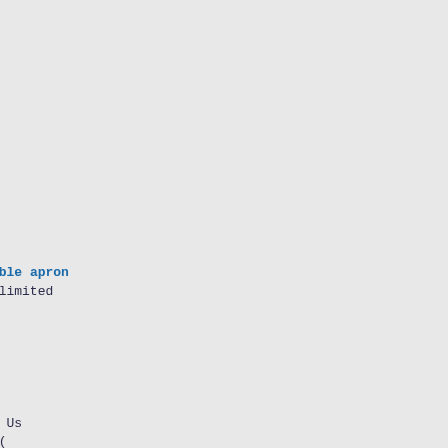[Figure (screenshot): Screenshot of a PHP array dump / debug output showing nested array structure with keys like Link, Count, Active, List, 84, Name, Web_Reviews, Position, ContactUs, Web_Footer, overlaid with a Skype contact panel showing names: Karen Hu, Joanna Li, Catherine Zhou, Michelle Song, Sarah Cai]